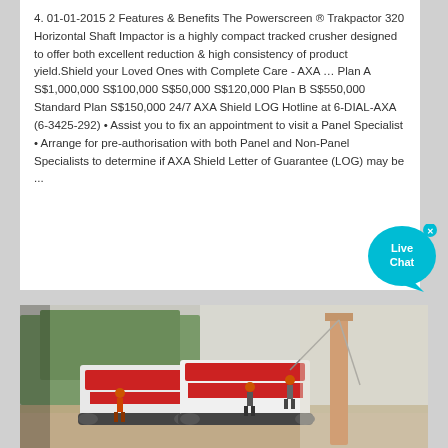4. 01-01-2015 2 Features & Benefits The Powerscreen ® Trakpactor 320 Horizontal Shaft Impactor is a highly compact tracked crusher designed to offer both excellent reduction & high consistency of product yield.Shield your Loved Ones with Complete Care - AXA … Plan A S$1,000,000 S$100,000 S$50,000 S$120,000 Plan B S$550,000 Standard Plan S$150,000 24/7 AXA Shield LOG Hotline at 6-DIAL-AXA (6-3425-292) • Assist you to fix an appointment to visit a Panel Specialist • Arrange for pre-authorisation with both Panel and Non-Panel Specialists to determine if AXA Shield Letter of Guarantee (LOG) may be ...
[Figure (photo): Construction site photo showing workers and heavy machinery/drilling equipment including a red and white tracked machine and an orange crane/drill rig on a dirt ground with trees in the background]